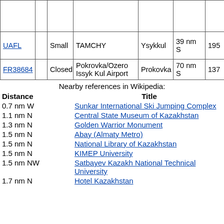|  |  |  |  |  |  |  |
| --- | --- | --- | --- | --- | --- | --- |
|  |  |  |  |  |  |  |
| UAFL |  | Small | TAMCHY | Ysykkul | 39 nm S | 195 |
| FR38684 |  | Closed | Pokrovka/Ozero Issyk Kul Airport | Prokovka | 70 nm S | 137 |
Nearby references in Wikipedia:
| Distance | Title |
| --- | --- |
| 0.7 nm W | Sunkar International Ski Jumping Complex |
| 1.1 nm N | Central State Museum of Kazakhstan |
| 1.3 nm N | Golden Warrior Monument |
| 1.5 nm N | Abay (Almaty Metro) |
| 1.5 nm N | National Library of Kazakhstan |
| 1.5 nm N | KIMEP University |
| 1.5 nm NW | Satbayev Kazakh National Technical University |
| 1.7 nm N | Hotel Kazakhstan |